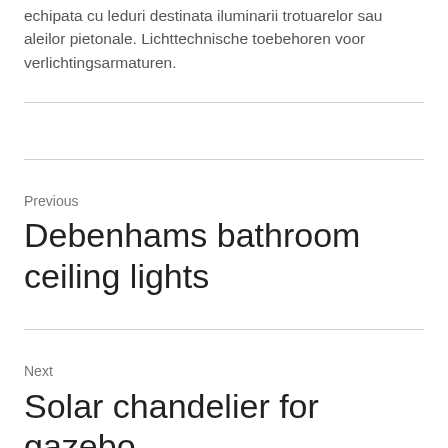echipata cu leduri destinata iluminarii trotuarelor sau aleilor pietonale. Lichttechnische toebehoren voor verlichtingsarmaturen.
Previous
Debenhams bathroom ceiling lights
Next
Solar chandelier for gazebo